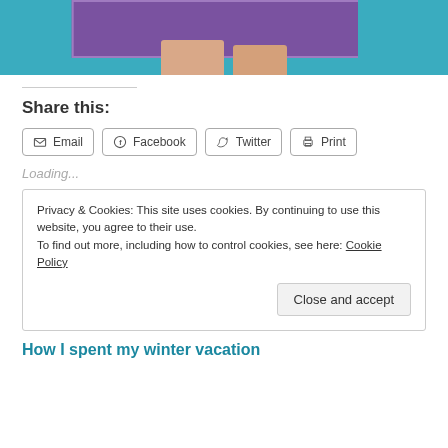[Figure (photo): Cropped photo showing teal/blue fabric background with a purple cloth being held by hands]
Share this:
Email | Facebook | Twitter | Print
Loading...
Privacy & Cookies: This site uses cookies. By continuing to use this website, you agree to their use.
To find out more, including how to control cookies, see here: Cookie Policy
[Close and accept]
How I spent my winter vacation